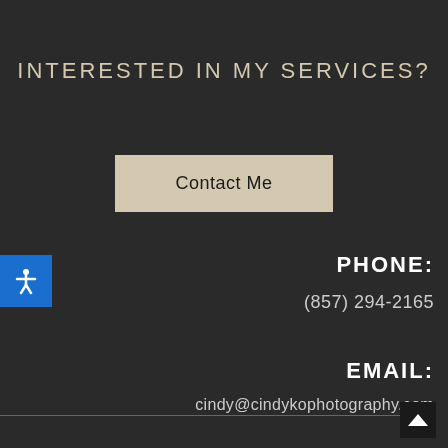INTERESTED IN MY SERVICES?
Contact Me
PHONE:
(857) 294-2165
EMAIL:
cindy@cindykophotography.com